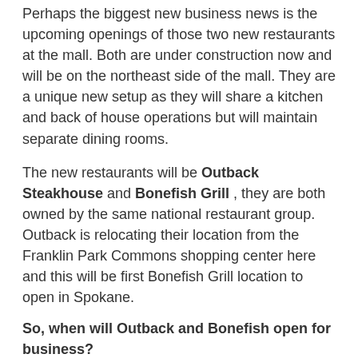Perhaps the biggest new business news is the upcoming openings of those two new restaurants at the mall. Both are under construction now and will be on the northeast side of the mall. They are a unique new setup as they will share a kitchen and back of house operations but will maintain separate dining rooms.
The new restaurants will be Outback Steakhouse and Bonefish Grill , they are both owned by the same national restaurant group. Outback is relocating their location from the Franklin Park Commons shopping center here and this will be first Bonefish Grill location to open in Spokane.
So, when will Outback and Bonefish open for business? Here are their opening dates-
Bonefish Grill - 11/18/2015
Outback Steakhouse- 11/31/2015
Many more new businesses could open at Northtown Mall...